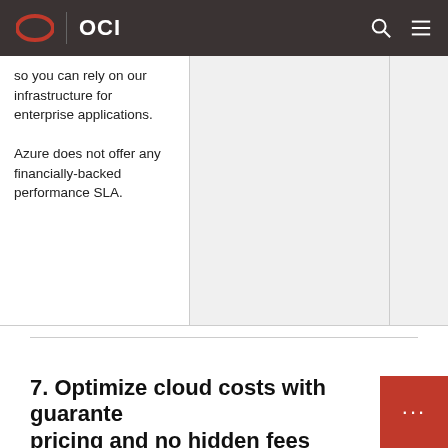OCI
so you can rely on our infrastructure for enterprise applications.

Azure does not offer any financially-backed performance SLA.
7. Optimize cloud costs with guaranteed pricing and no hidden fees